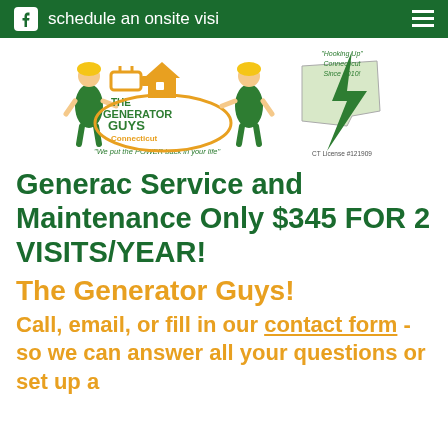schedule an onsite visit
[Figure (logo): The Generator Guys Connecticut logo with two workers in green overalls, orange plug and house icon, and a Connecticut state map with green lightning bolt. Text: 'We put the POWER back in your life'. 'Hooking Up Connecticut Since 2010!' CT License #121909]
Generac Service and Maintenance Only $345 FOR 2 VISITS/YEAR!
The Generator Guys!
Call, email, or fill in our contact form - so we can answer all your questions or set up a